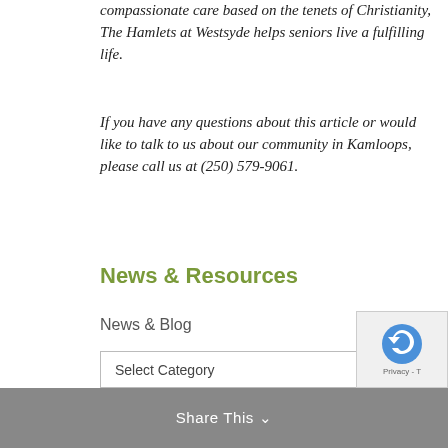compassionate care based on the tenets of Christianity, The Hamlets at Westsyde helps seniors live a fulfilling life.
If you have any questions about this article or would like to talk to us about our community in Kamloops, please call us at (250) 579-9061.
News & Resources
News & Blog
Resources
Recreation Calendar
Blog Categories
Select Category
Share This